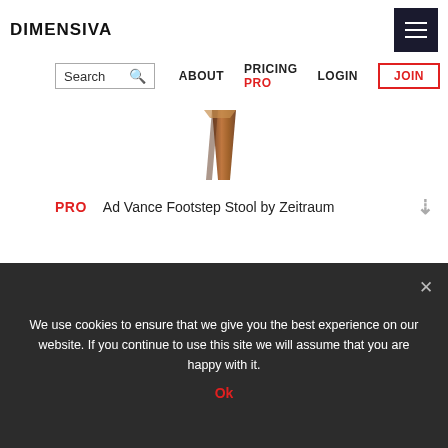DIMENSIVA [hamburger menu]
Search | ABOUT | PRICING PRO | LOGIN | JOIN
[Figure (photo): A wooden stool leg rendered in 3D, brown wood texture, angled shape]
PRO   Ad Vance Footstep Stool by Zeitraum   [down arrow]
We use cookies to ensure that we give you the best experience on our website. If you continue to use this site we will assume that you are happy with it. Ok